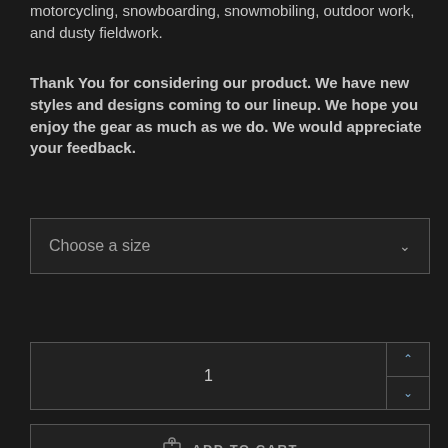motorcycling, snowboarding, snowmobiling, outdoor work, and dusty fieldwork.
Thank You for considering our product. We have new styles and designs coming to our lineup. We hope you enjoy the gear as much as we do. We would appreciate your feedback.
[Figure (screenshot): Dropdown selector with label 'Choose a size' and a chevron arrow on the right]
[Figure (screenshot): Quantity input box showing value '1' with up and down arrow controls on the right side]
[Figure (screenshot): Add to cart button with shopping bag icon and text 'ADD TO CART']